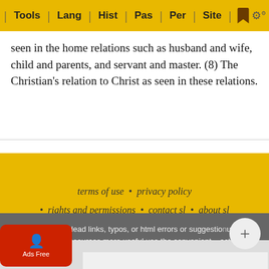Tools  Lang  Hist  Pas  Per  Site
seen in the home relations such as husband and wife, child and parents, and servant and master. (8) The Christian's relation to Christ as seen in these relations.
terms of use  •  privacy policy  •  rights and permissions  •  contact sl  •  about sl  •  link to sl
To report dead links, typos, or html errors or suggestions about making these resources more useful use the convenient contact form
StudyL...  ...hnology